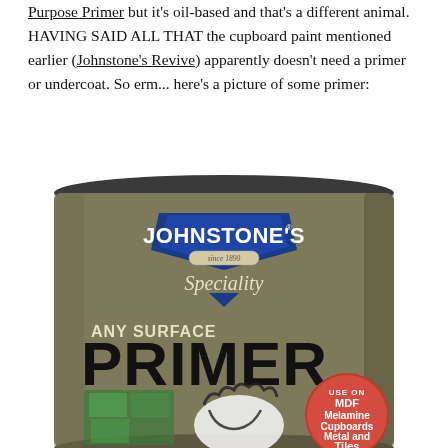Purpose Primer but it's oil-based and that's a different animal. HAVING SAID ALL THAT the cupboard paint mentioned earlier (Johnstone's Revive) apparently doesn't need a primer or undercoat. So erm... here's a picture of some primer:
[Figure (photo): A tin of Johnstone's Speciality Any Surface Primer paint, showing the brand logo in blue and white, the product name in large bold black text, and a red badge indicating use on MDF, Melamine, Cupboards, Metal and Tiles. The tin background is olive/khaki green with images of painted surfaces.]